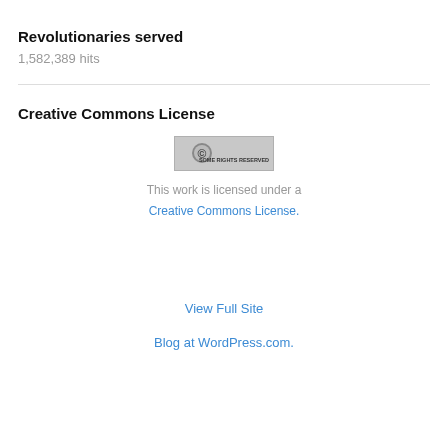Revolutionaries served
1,582,389 hits
Creative Commons License
[Figure (logo): Creative Commons 'Some Rights Reserved' badge]
This work is licensed under a
Creative Commons License.
View Full Site
Blog at WordPress.com.